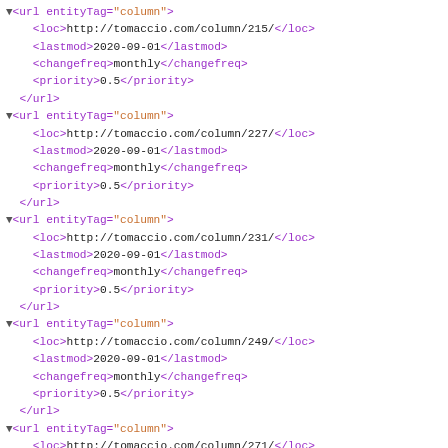XML sitemap code snippet showing url entries with entityTag="column" for URLs /column/215, /column/227, /column/231, /column/249, /column/271 each with lastmod 2020-09-01, changefreq monthly, priority 0.5